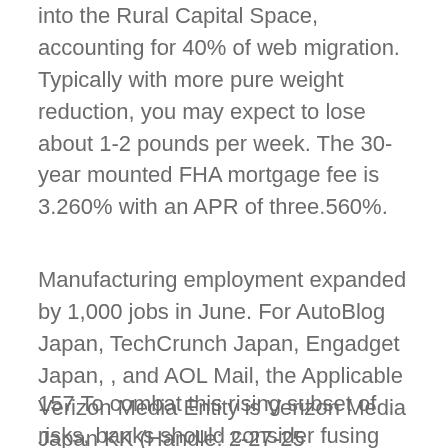into the Rural Capital Space, accounting for 40% of web migration. Typically with more pure weight reduction, you may expect to lose about 1-2 pounds per week. The 30-year mounted FHA mortgage fee is 3.260% with an APR of three.560%.
Manufacturing employment expanded by 1,000 jobs in June. For AutoBlog Japan, TechCrunch Japan, Engadget Japan, , and AOL Mail, the Applicable Verizon Media Entity is Verizon Media Japan KK (Handle: 2-27-25 Minamiaoyama, Minato-ku, Tokyo 10 7-0062 Japan). Founded in 1928, Kendall Faculty of Art and Design (KCAD) is a university within Ferris State College.
157 To combat this rising subset of risks, banks should consider fusing their cyber and